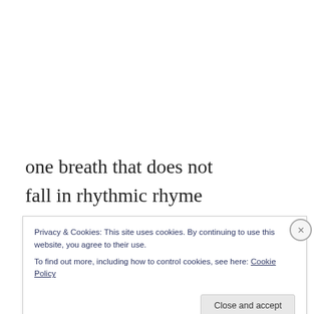one breath that does not
fall in rhythmic rhyme
skids from fingers that slide
from point to point to
point, interminable
points, infinitesimal bits,
that had so imprisoned us
Privacy & Cookies: This site uses cookies. By continuing to use this website, you agree to their use.
To find out more, including how to control cookies, see here: Cookie Policy
Close and accept